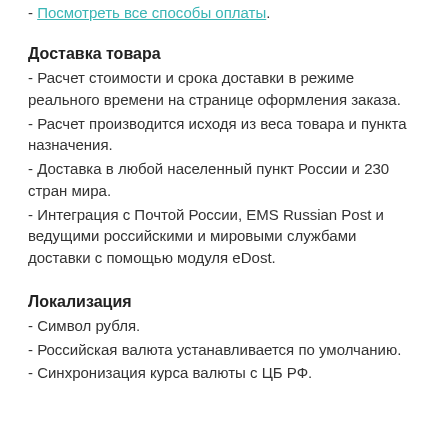- Посмотреть все способы оплаты.
Доставка товара
- Расчет стоимости и срока доставки в режиме реального времени на странице оформления заказа.
- Расчет производится исходя из веса товара и пункта назначения.
- Доставка в любой населенный пункт России и 230 стран мира.
- Интеграция с Почтой России, EMS Russian Post и ведущими российскими и мировыми службами доставки с помощью модуля eDost.
Локализация
- Символ рубля.
- Российская валюта устанавливается по умолчанию.
- Синхронизация курса валюты с ЦБ РФ.